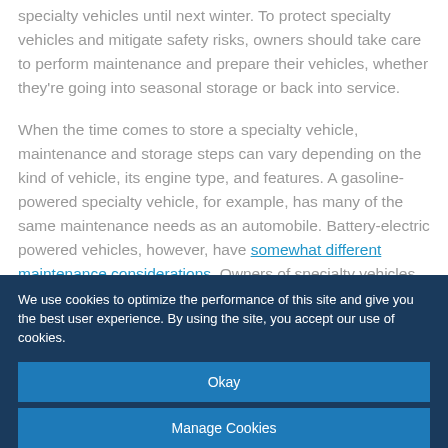specialty vehicles until next winter. To protect specialty vehicles and mitigate safety risks, owners should take care to perform maintenance and prepare their vehicles, whether they're going into seasonal storage or back into service.
When the time comes to store a specialty vehicle, maintenance and storage steps can vary depending on the kind of vehicle, its engine type, and features. A gasoline-powered specialty vehicle, for example, has many of the same maintenance needs as an automobile. Battery-electric powered vehicles, however, have somewhat different maintenance considerations. Owners of specialty vehicles should also be aware of any manufacturer-specific
We use cookies to optimize the performance of this site and give you the best user experience. By using the site, you accept our use of cookies.
Okay
Manage Cookies